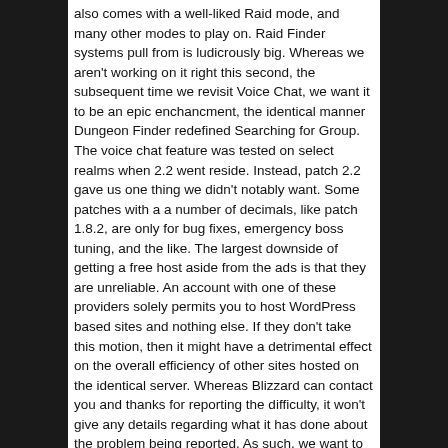also comes with a well-liked Raid mode, and many other modes to play on. Raid Finder systems pull from is ludicrously big. Whereas we aren't working on it right this second, the subsequent time we revisit Voice Chat, we want it to be an epic enchancment, the identical manner Dungeon Finder redefined Searching for Group. The voice chat feature was tested on select realms when 2.2 went reside. Instead, patch 2.2 gave us one thing we didn't notably want. Some patches with a a number of decimals, like patch 1.8.2, are only for bug fixes, emergency boss tuning, and the like. The largest downside of getting a free host aside from the ads is that they are unreliable. An account with one of these providers solely permits you to host WordPress based sites and nothing else. If they don't take this motion, then it might have a detrimental effect on the overall efficiency of other sites hosted on the identical server. Whereas Blizzard can contact you and thanks for reporting the difficulty, it won't give any details regarding what it has done about the problem being reported. As such, we want to broaden our already massive neighborhood by including many like-minded people that can contribute to our cause. Because of years of our expertise, now we have managed to completely remaster Wrath of the Lich King content and we are